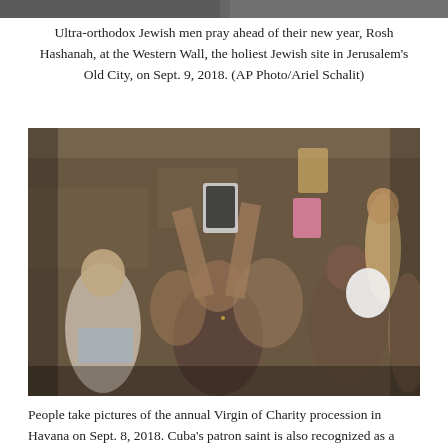[Figure (photo): Partial top strip of a photo showing what appears to be people at the Western Wall, cropped to just the top edge]
Ultra-orthodox Jewish men pray ahead of their new year, Rosh Hashanah, at the Western Wall, the holiest Jewish site in Jerusalem's Old City, on Sept. 9, 2018. (AP Photo/Ariel Schalit)
[Figure (photo): People take pictures with their phones at the annual Virgin of Charity procession in Havana, Cuba. A crowd of people are raising their phones upward; a woman in a floral dress and a man in a Roma t-shirt are prominent in the foreground.]
People take pictures of the annual Virgin of Charity procession in Havana on Sept. 8, 2018. Cuba's patron saint is also recognized as a powerful deity in the